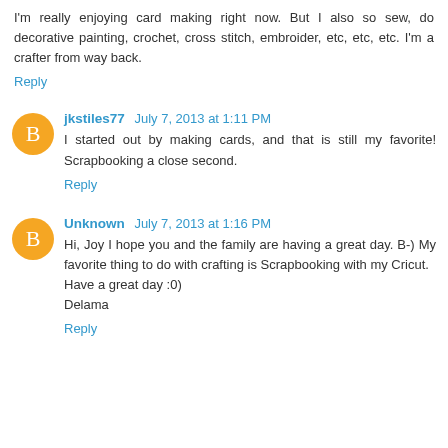I'm really enjoying card making right now. But I also so sew, do decorative painting, crochet, cross stitch, embroider, etc, etc, etc. I'm a crafter from way back.
Reply
jkstiles77  July 7, 2013 at 1:11 PM
I started out by making cards, and that is still my favorite! Scrapbooking a close second.
Reply
Unknown  July 7, 2013 at 1:16 PM
Hi, Joy I hope you and the family are having a great day. B-) My favorite thing to do with crafting is Scrapbooking with my Cricut.
Have a great day :0)
Delama
Reply